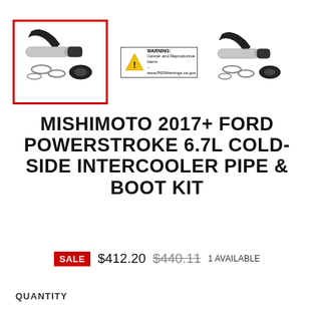[Figure (photo): Two product photos of Mishimoto intercooler pipe and boot kit (black hose, silver pipe, clamps). Left image has red border indicating selected. A warning badge (California Prop 65 cancer and reproductive harm warning) appears between images.]
MISHIMOTO 2017+ FORD POWERSTROKE 6.7L COLD-SIDE INTERCOOLER PIPE & BOOT KIT
SALE $412.20 $440.11 1 AVAILABLE
QUANTITY